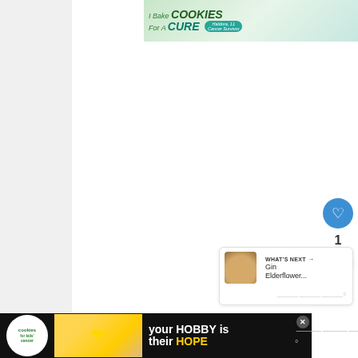[Figure (infographic): Top advertisement banner for 'Cookies for Kids Cancer' with text 'I Bake COOKIES For A CURE' featuring Haldora, 11 Cancer Survivor, with tagline 'So can you!' and a close button.]
[Figure (infographic): Social interaction UI: blue heart/like button with count of 1, and a share button below it on the right side of the content area.]
1
[Figure (infographic): What's Next card showing a thumbnail image and text 'WHAT'S NEXT → Gin Elderflower...' with Whisk logo.]
WHAT'S NEXT → Gin Elderflower...
[Figure (infographic): Bottom advertisement banner for 'Cookies for Kids Cancer' with text 'your HOBBY is their HOPE' on black background.]